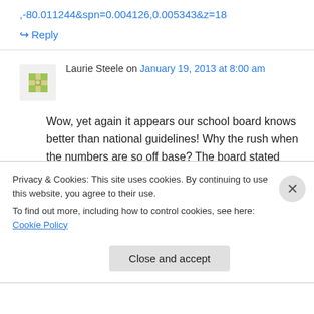,-80.011244&spn=0.004126,0.005343&z=18
↪ Reply
Laurie Steele on January 19, 2013 at 8:00 am
Wow, yet again it appears our school board knows better than national guidelines! Why the rush when the numbers are so off base? The board stated themselves that the projected numbers are not even close to actuals! Look at
Privacy & Cookies: This site uses cookies. By continuing to use this website, you agree to their use.
To find out more, including how to control cookies, see here: Cookie Policy
Close and accept